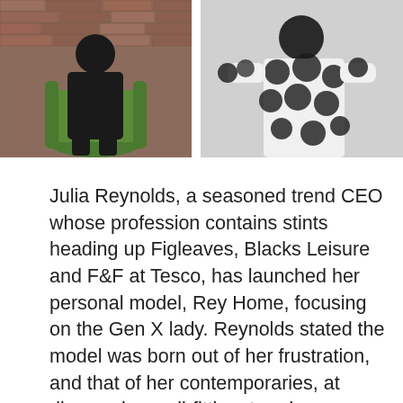[Figure (photo): Two photos side by side: left shows a person seated in a green velvet chair against a brick wall wearing all black; right shows a person in a black and white polka dot/circle patterned top.]
Julia Reynolds, a seasoned trend CEO whose profession contains stints heading up Figleaves, Blacks Leisure and F&F at Tesco, has launched her personal model, Rey Home, focusing on the Gen X lady. Reynolds stated the model was born out of her frustration, and that of her contemporaries, at discovering well-fitting, trendy garments for the 45-plus … Read more
Fashion
CEO, Fashion, house, Julia, Label,